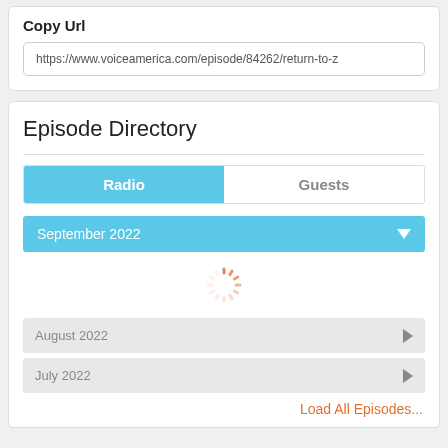Copy Url
https://www.voiceamerica.com/episode/84262/return-to-z
Episode Directory
Radio
Guests
September 2022
[Figure (infographic): Loading spinner — circular dashed orange/red spinner icon]
August 2022
July 2022
Load All Episodes...